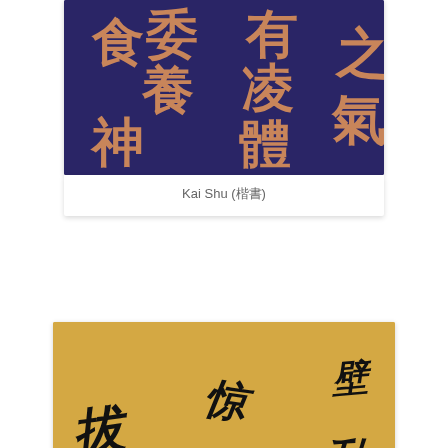[Figure (photo): Photo of Chinese calligraphy in Kai Shu (楷書) style — dark blue/purple background with reddish-orange Chinese characters arranged in a grid pattern. Characters visible include 之, 氣, 有, 凌, 委, 體, 養, 食, 神.]
Kai Shu (楷書)
[Figure (photo): Photo of Chinese cursive calligraphy on a golden/yellow background. Black brushstroke characters in a flowing, connected cursive style arranged in three columns.]